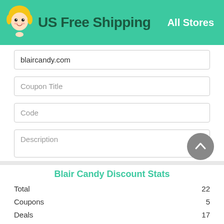US Free Shipping  All Stores
blaircandy.com
Coupon Title
Code
Description
Expiration
Blair Candy Discount Stats
|  |  |
| --- | --- |
| Total | 22 |
| Coupons | 5 |
| Deals | 17 |